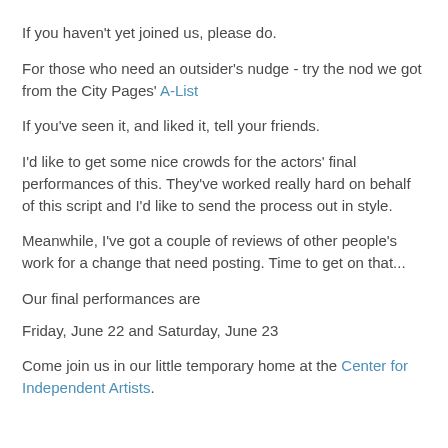If you haven't yet joined us, please do.
For those who need an outsider's nudge - try the nod we got from the City Pages' A-List
If you've seen it, and liked it, tell your friends.
I'd like to get some nice crowds for the actors' final performances of this. They've worked really hard on behalf of this script and I'd like to send the process out in style.
Meanwhile, I've got a couple of reviews of other people's work for a change that need posting. Time to get on that...
Our final performances are
Friday, June 22 and Saturday, June 23
Come join us in our little temporary home at the Center for Independent Artists.